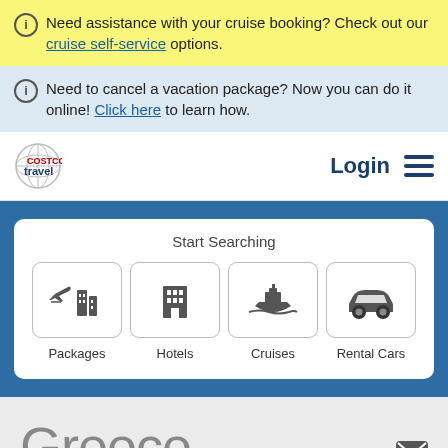Need assistance with your cruise booking? Check out our cruise self-service options.
Need to cancel a vacation package? Now you can do it online! Click here to learn how.
[Figure (logo): Costco Travel logo with compass globe icon, red COSTCO text and blue travel text]
Login
[Figure (infographic): Start Searching section with four category icons: Packages (plane+building), Hotels (building), Cruises (cruise ship), Rental Cars (car)]
Greece
Share